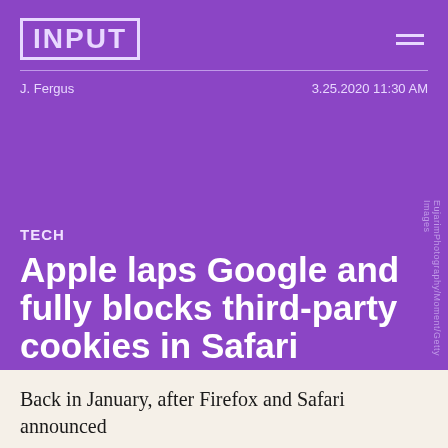INPUT
J. Fergus  3.25.2020 11:30 AM
TECH
Apple laps Google and fully blocks third-party cookies in Safari
To be fair, Tor got there first.
EujarimPhotography/Moment/Getty Images
Back in January, after Firefox and Safari announced